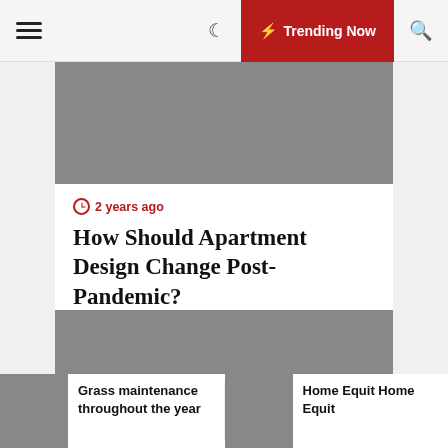☰  Trending Now 🔍
[Figure (photo): Gray placeholder hero image area at top of article]
⏰ 2 years ago
How Should Apartment Design Change Post-Pandemic?
[Figure (photo): Gray placeholder image for second article]
Grass maintenance throughout the year
Home Equit Home Equit